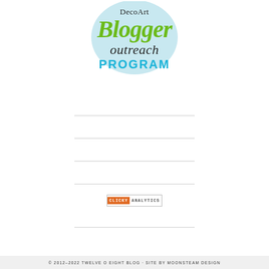[Figure (logo): DecoArt Blogger Outreach Program logo: light blue circle with 'DecoArt' in serif font, 'Blogger' in large green script, 'outreach' in dark handwritten style, 'PROGRAM' in bold cyan/blue uppercase letters.]
[Figure (logo): Clicky Analytics badge: orange box with 'CLICKY' in white monospace uppercase letters, followed by 'ANALYTICS' in gray monospace uppercase letters, bordered box.]
© 2012–2022 TWELVE O EIGHT BLOG · SITE BY MOONSTEAM DESIGN